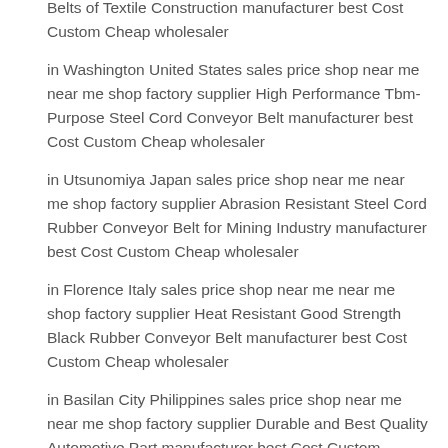Belts of Textile Construction manufacturer best Cost Custom Cheap wholesaler
in Washington United States sales price shop near me near me shop factory supplier High Performance Tbm-Purpose Steel Cord Conveyor Belt manufacturer best Cost Custom Cheap wholesaler
in Utsunomiya Japan sales price shop near me near me shop factory supplier Abrasion Resistant Steel Cord Rubber Conveyor Belt for Mining Industry manufacturer best Cost Custom Cheap wholesaler
in Florence Italy sales price shop near me near me shop factory supplier Heat Resistant Good Strength Black Rubber Conveyor Belt manufacturer best Cost Custom Cheap wholesaler
in Basilan City Philippines sales price shop near me near me shop factory supplier Durable and Best Quality Automotive Part manufacturer best Cost Custom Cheap wholesaler